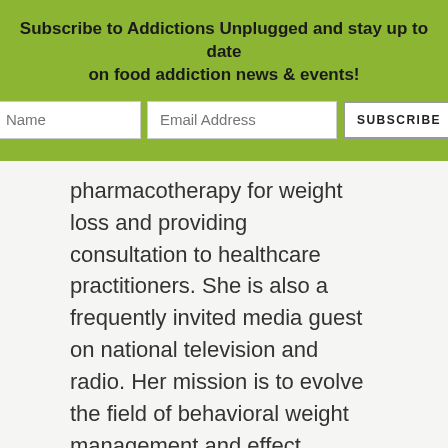[Figure (other): Newsletter subscription banner with green background containing bold title text and form fields (Name, Email Address, Subscribe button)]
pharmacotherapy for weight loss and providing consultation to healthcare practitioners. She is also a frequently invited media guest on national television and radio. Her mission is to evolve the field of behavioral weight management and effect lasting change in the many individuals who